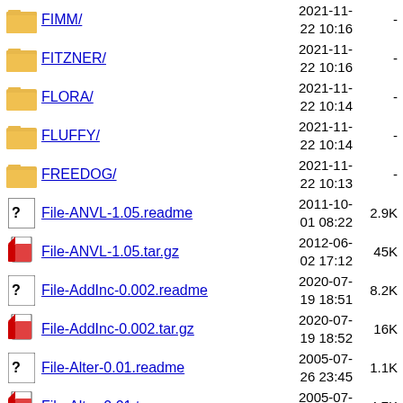FIMM/ 2021-11-22 10:16 -
FITZNER/ 2021-11-22 10:16 -
FLORA/ 2021-11-22 10:14 -
FLUFFY/ 2021-11-22 10:14 -
FREEDOG/ 2021-11-22 10:13 -
File-ANVL-1.05.readme 2011-10-01 08:22 2.9K
File-ANVL-1.05.tar.gz 2012-06-02 17:12 45K
File-AddInc-0.002.readme 2020-07-19 18:51 8.2K
File-AddInc-0.002.tar.gz 2020-07-19 18:52 16K
File-Alter-0.01.readme 2005-07-26 23:45 1.1K
File-Alter-0.01.tar.gz 2005-07-27 23:21 4.7K
File-AnySpec-0.06.readme 2004-04-... 29K